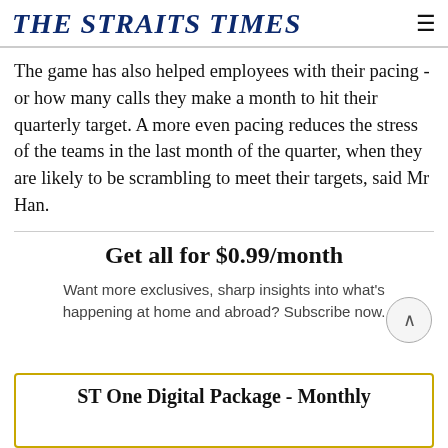THE STRAITS TIMES
The game has also helped employees with their pacing - or how many calls they make a month to hit their quarterly target. A more even pacing reduces the stress of the teams in the last month of the quarter, when they are likely to be scrambling to meet their targets, said Mr Han.
Get all for $0.99/month
Want more exclusives, sharp insights into what's happening at home and abroad? Subscribe now.
ST One Digital Package - Monthly